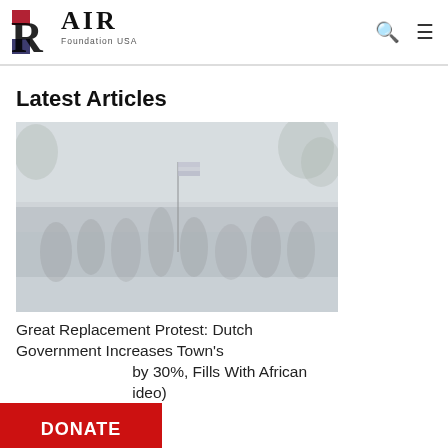RAIR Foundation USA
Latest Articles
[Figure (photo): Faded/washed-out photograph of a crowd of people marching outdoors, one person carrying a flag on a pole, trees visible in background]
Great Replacement Protest: Dutch Government Increases Town's [...]by 30%, Fills With African [...] ideo)